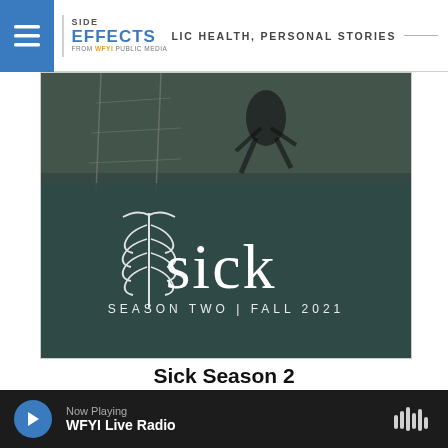SIDE EFFECTS | PUBLIC HEALTH, PERSONAL STORIES | FROM WFYI PUBLIC MEDIA
[Figure (photo): Promotional hero image for 'Sick Season Two | Fall 2021' podcast/show. Shows a fence and grass in background with dark teal overlay. White ribcage skeleton icon on left. Large serif text 'sick' in white. Below: 'SEASON TWO | FALL 2021' in spaced uppercase letters.]
Sick Season 2
Incarcerated people are some of the sickest people in our country. Many have chronic conditions such as diabetes or lung disease. And they're far more
Now Playing WFYI Live Radio